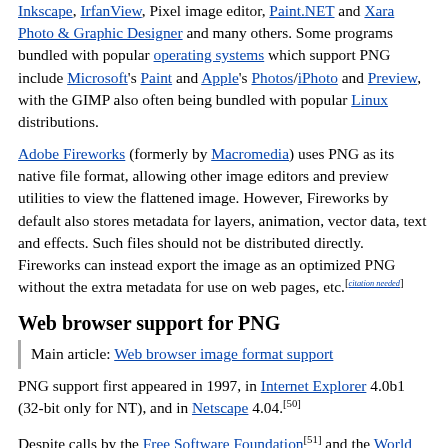Inkscape, IrfanView, Pixel image editor, Paint.NET and Xara Photo & Graphic Designer and many others. Some programs bundled with popular operating systems which support PNG include Microsoft's Paint and Apple's Photos/iPhoto and Preview, with the GIMP also often being bundled with popular Linux distributions.
Adobe Fireworks (formerly by Macromedia) uses PNG as its native file format, allowing other image editors and preview utilities to view the flattened image. However, Fireworks by default also stores metadata for layers, animation, vector data, text and effects. Such files should not be distributed directly. Fireworks can instead export the image as an optimized PNG without the extra metadata for use on web pages, etc.[citation needed]
Web browser support for PNG
Main article: Web browser image format support
PNG support first appeared in 1997, in Internet Explorer 4.0b1 (32-bit only for NT), and in Netscape 4.04.[50]
Despite calls by the Free Software Foundation[51] and the World Wide Web Consortium (W3C),[52] tools such as gif2png,[53] and